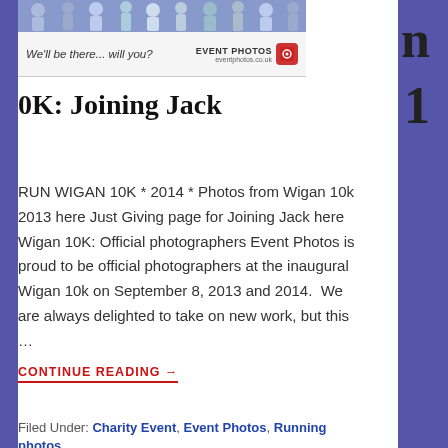[Figure (photo): Advertisement banner for Event Photos showing people silhouettes at top, tagline 'We'll be there... will you?' and Event Photos logo with red icon]
n
1
0K: Joining Jack
RUN WIGAN 10K * 2014 * Photos from Wigan 10k 2013 here Just Giving page for Joining Jack here Wigan 10K: Official photographers Event Photos is proud to be official photographers at the inaugural Wigan 10k on September 8, 2013 and 2014.  We are always delighted to take on new work, but this ...
CONTINUE READING →
Filed Under: Charity Event, Event Photos, Running photos